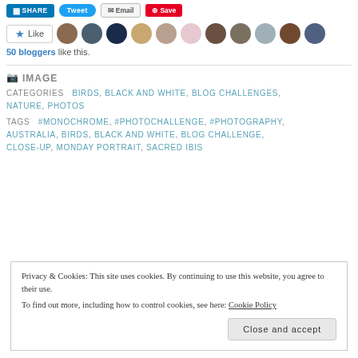[Figure (screenshot): Social share buttons: Share (LinkedIn), Tweet (Twitter), Email, Save (Pinterest) at top of page]
[Figure (screenshot): Like button with star icon and row of 11 blogger avatar thumbnails]
50 bloggers like this.
IMAGE
CATEGORIES  BIRDS, BLACK AND WHITE, BLOG CHALLENGES, NATURE, PHOTOS
TAGS  #MONOCHROME, #PHOTOCHALLENGE, #PHOTOGRAPHY, AUSTRALIA, BIRDS, BLACK AND WHITE, BLOG CHALLENGE, CLOSE-UP, MONDAY PORTRAIT, SACRED IBIS
Privacy & Cookies: This site uses cookies. By continuing to use this website, you agree to their use.
To find out more, including how to control cookies, see here: Cookie Policy
Close and accept